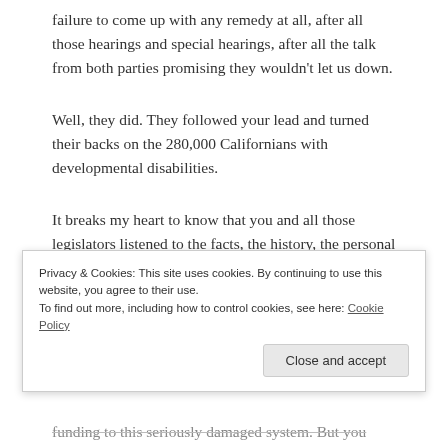failure to come up with any remedy at all, after all those hearings and special hearings, after all the talk from both parties promising they wouldn't let us down.
Well, they did. They followed your lead and turned their backs on the 280,000 Californians with developmental disabilities.
It breaks my heart to know that you and all those legislators listened to the facts, the history, the personal stories – really seemed to understand the enormity of
Privacy & Cookies: This site uses cookies. By continuing to use this website, you agree to their use.
To find out more, including how to control cookies, see here: Cookie Policy
funding to this seriously damaged system. But you